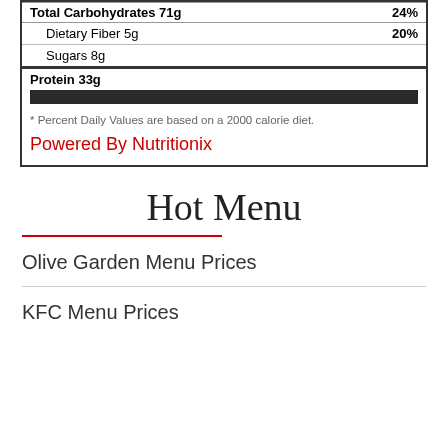| Sodium 1410mg | 59% |
| Total Carbohydrates 71g | 24% |
| Dietary Fiber 5g | 20% |
| Sugars 8g |  |
| Protein 33g |  |
* Percent Daily Values are based on a 2000 calorie diet.
Powered By Nutritionix
Hot Menu
Olive Garden Menu Prices
KFC Menu Prices